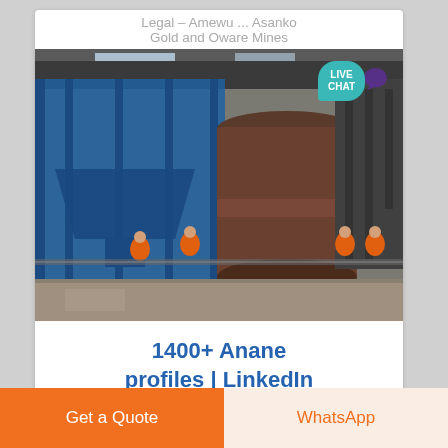Legal – Amewu ... Asanko
Gold and Oware Mines
[Figure (photo): Industrial mining facility interior showing a large cylindrical mill/crusher machine in the center, blue industrial structures on the left, and workers in orange high-visibility gear. A LIVE CHAT bubble badge overlays the top right corner.]
1400+ Anane profiles | LinkedIn
Get a Quote
WhatsApp